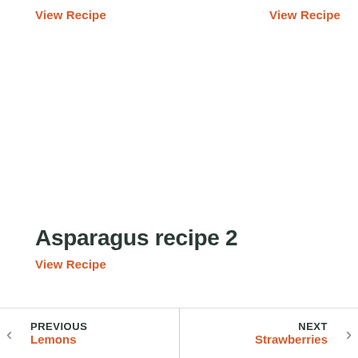View Recipe
View Recipe
Asparagus recipe 2
View Recipe
PREVIOUS Lemons | NEXT Strawberries